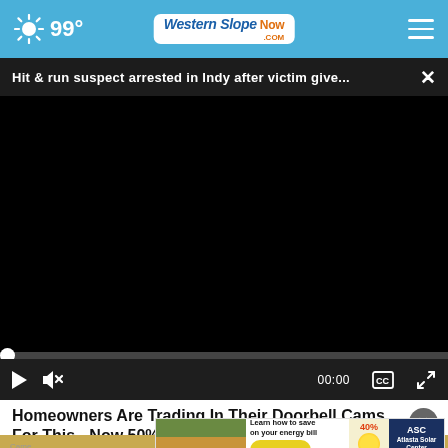Western Slope Now .com — 99°
Hit & run suspect arrested in Indy after victim give... ×
[Figure (screenshot): Black video player area (video not loaded/black screen)]
▶  🔇  00:00  ⧠  ⛶
Homeowners Are Trading In Their Doorbell Cams For This - Now 50% Off
[Figure (photo): Advertisement for ASC Atlasta Solar Center — shows a house with solar panels, text: Learn how to save on your energy bill, 40% Off, CLICK HERE, ASC Atlasta Solar Center]